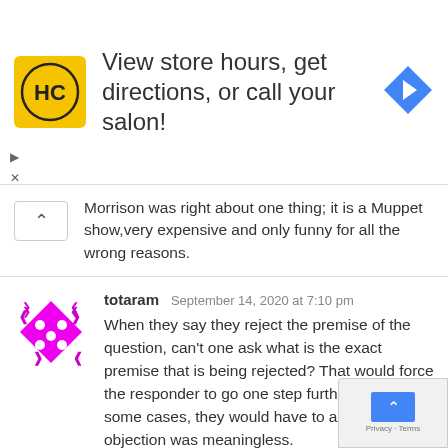[Figure (infographic): Ad banner: HC salon logo (yellow square with HC letters), text 'View store hours, get directions, or call your salon!', blue navigation arrow icon on right]
Morrison was right about one thing; it is a Muppet show,very expensive and only funny for all the wrong reasons.
totaram   September 14, 2020 at 7:10 pm
When they say they reject the premise of the question, can't one ask what is the exact premise that is being rejected? That would force the responder to go one step further and in some cases, they would have to admit that their objection was meaningless.
Just my two bits.